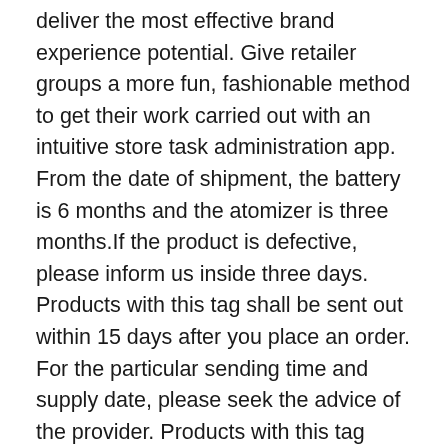deliver the most effective brand experience potential. Give retailer groups a more fun, fashionable method to get their work carried out with an intuitive store task administration app.
From the date of shipment, the battery is 6 months and the atomizer is three months.If the product is defective, please inform us inside three days. Products with this tag shall be sent out within 15 days after you place an order. For the particular sending time and supply date, please seek the advice of the provider. Products with this tag support free samples earlier than you placing an official order. You can consult the provider whether or not you must pay for the shipping fee of the free pattern or not.
China Genie 2800 Puffs disposable vape Rechargeable Pre-filled disposable e cigarette Colorful led Light on Global Sources,Pre-filled disposable,Vaporizer,Puff xxl Disposable Vape - Global Sources